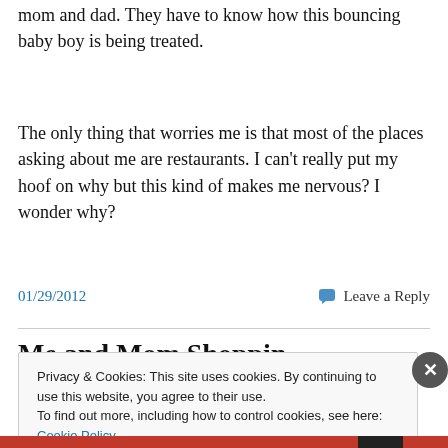mom and dad. They have to know how this bouncing baby boy is being treated.
The only thing that worries me is that most of the places asking about me are restaurants. I can't really put my hoof on why but this kind of makes me nervous? I wonder why?
01/29/2012    Leave a Reply
Me and Mom Shoppin...
Privacy & Cookies: This site uses cookies. By continuing to use this website, you agree to their use.
To find out more, including how to control cookies, see here: Cookie Policy